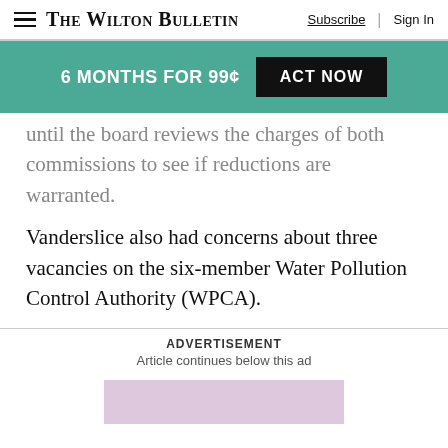The Wilton Bulletin | Subscribe | Sign In
[Figure (other): Promotional banner: 6 MONTHS FOR 99¢ with ACT NOW button on teal background]
until the board reviews the charges of both commissions to see if reductions are warranted.
Vanderslice also had concerns about three vacancies on the six-member Water Pollution Control Authority (WPCA).
ADVERTISEMENT
Article continues below this ad
[Figure (other): Advertisement placeholder in light purple/pink color]